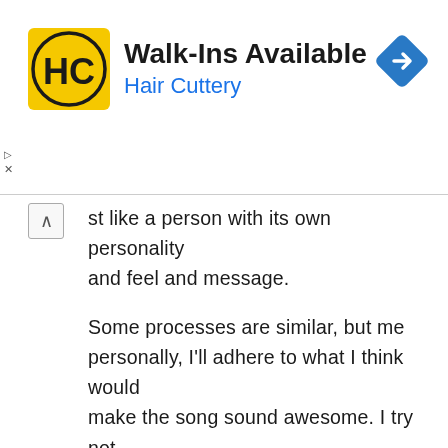[Figure (logo): Hair Cuttery advertisement banner with HC logo, text 'Walk-Ins Available' and 'Hair Cuttery', and a blue navigation diamond icon]
...just like a person with its own personality and feel and message.

Some processes are similar, but me personally, I'll adhere to what I think would make the song sound awesome. I try not to go for a certain "sound," but I know what I want a certain beat or song I'm working on to sound like. That makes sense idgaf. Like Bruce Lee said, the best style is free of all styles. He said